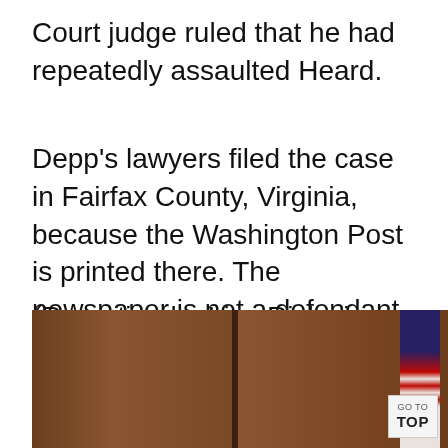Court judge ruled that he had repeatedly assaulted Heard.
Depp's lawyers filed the case in Fairfax County, Virginia, because the Washington Post is printed there. The newspaper is not a defendant.
(Reporting by Lisa Richwine; Editing by Leslie Adler, Mark Porter and David Gregorio)
[Figure (photo): A courtroom scene showing wooden panels and a partially visible American flag in the background.]